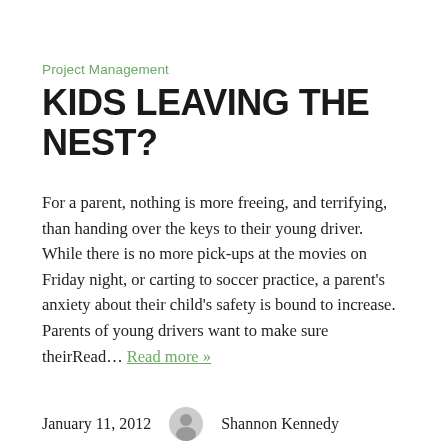Project Management
KIDS LEAVING THE NEST?
For a parent, nothing is more freeing, and terrifying, than handing over the keys to their young driver. While there is no more pick-ups at the movies on Friday night, or carting to soccer practice, a parent's anxiety about their child's safety is bound to increase. Parents of young drivers want to make sure theirRead… Read more »
January 11, 2012   Shannon Kennedy
Leave a comment